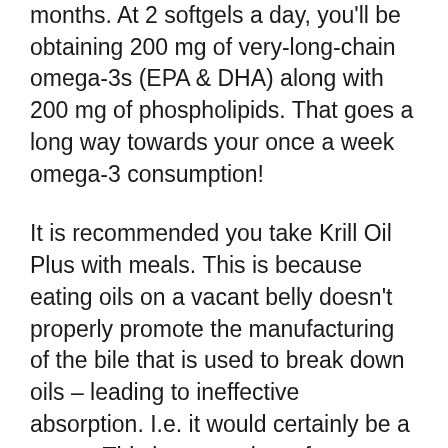months. At 2 softgels a day, you'll be obtaining 200 mg of very-long-chain omega-3s (EPA & DHA) along with 200 mg of phospholipids. That goes a long way towards your once a week omega-3 consumption!
It is recommended you take Krill Oil Plus with meals. This is because eating oils on a vacant belly doesn't properly promote the manufacturing of the bile that is used to break down oils – leading to ineffective absorption. I.e. it would certainly be a waste. This item consists of crustacean shellfish via the krill. As the existence of fish, the softgel capsule is made from gelatin (bovine) so it is not a vegetarian or a pescatarian item.
As with any supplement, constantly talk to